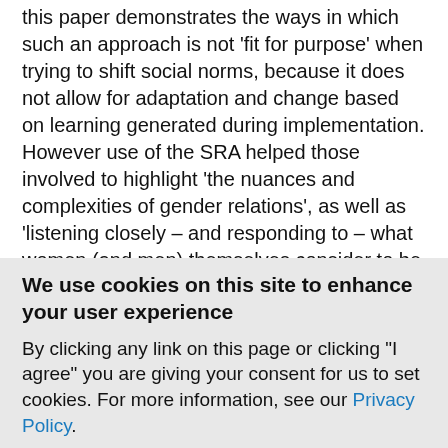this paper demonstrates the ways in which such an approach is not 'fit for purpose' when trying to shift social norms, because it does not allow for adaptation and change based on learning generated during implementation. However use of the SRA helped those involved to highlight 'the nuances and complexities of gender relations', as well as 'listening closely – and responding to – what women (and men) themselves consider to be empowering and positive indicators of change'. The authors
We use cookies on this site to enhance your user experience
By clicking any link on this page or clicking "I agree" you are giving your consent for us to set cookies. For more information, see our Privacy Policy.